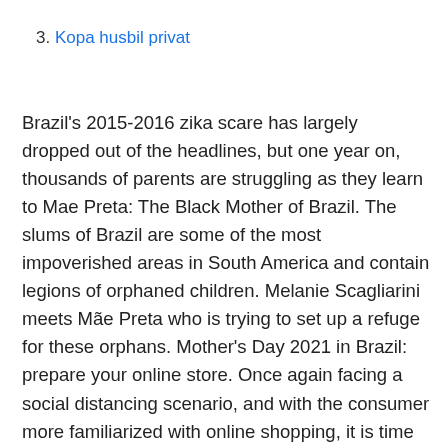3. Kopa husbil privat
Brazil's 2015-2016 zika scare has largely dropped out of the headlines, but one year on, thousands of parents are struggling as they learn to Mae Preta: The Black Mother of Brazil. The slums of Brazil are some of the most impoverished areas in South America and contain legions of orphaned children. Melanie Scagliarini meets Mãe Preta who is trying to set up a refuge for these orphans. Mother's Day 2021 in Brazil: prepare your online store. Once again facing a social distancing scenario, and with the consumer more familiarized with online shopping, it is time merchants prepare themselves for an even more digital edition of Mother's Day 2021.